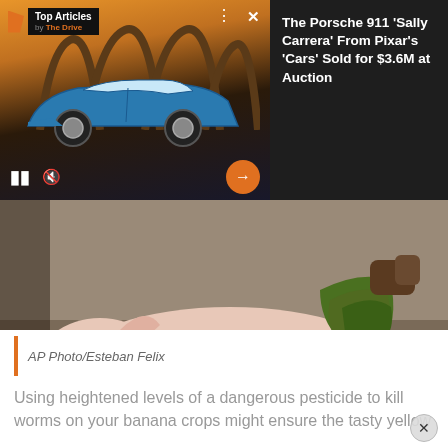[Figure (screenshot): Advertising overlay: video ad for 'The Drive' showing a blue Porsche 911 against a desert/orange sky background, with play/pause controls and mute button. Right side shows dark panel with article headline.]
The Porsche 911 'Sally Carrera' From Pixar's 'Cars' Sold for $3.6M at Auction
[Figure (photo): A pig with 'DOLE' written in red paint on its side, lying on the ground near bananas being held by a person. A 'NIROS' logo is visible in the corner.]
AP Photo/Esteban Felix
Using heightened levels of a dangerous pesticide to kill worms on your banana crops might ensure the tasty yellow